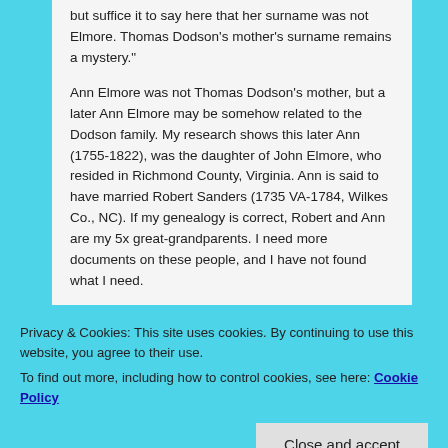but suffice it to say here that her surname was not Elmore. Thomas Dodson's mother's surname remains a mystery."
Ann Elmore was not Thomas Dodson's mother, but a later Ann Elmore may be somehow related to the Dodson family. My research shows this later Ann (1755-1822), was the daughter of John Elmore, who resided in Richmond County, Virginia. Ann is said to have married Robert Sanders (1735 VA-1784, Wilkes Co., NC). If my genealogy is correct, Robert and Ann are my 5x great-grandparents. I need more documents on these people, and I have not found what I need.
Privacy & Cookies: This site uses cookies. By continuing to use this website, you agree to their use.
To find out more, including how to control cookies, see here: Cookie Policy
Perhaps there was a reason Ann Elmore's name